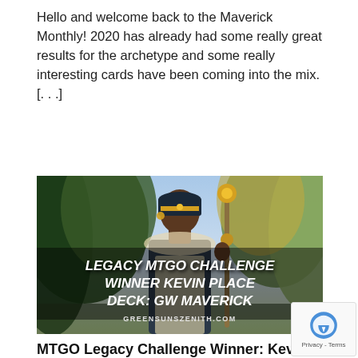Hello and welcome back to the Maverick Monthly! 2020 has already had some really great results for the archetype and some really interesting cards have been coming into the mix. [...]
[Figure (illustration): Fantasy card game artwork showing a dark-skinned woman in Egyptian-inspired attire holding a staff with gold ornaments, surrounded by trees and sky. Text overlay reads: LEGACY MTGO CHALLENGE WINNER KEVIN PLACE DECK: GW MAVERICK with GREENSUNSZENITH.COM at the bottom.]
MTGO Legacy Challenge Winner: Kevin Place GW Maverick
March 11, 2020   Comment